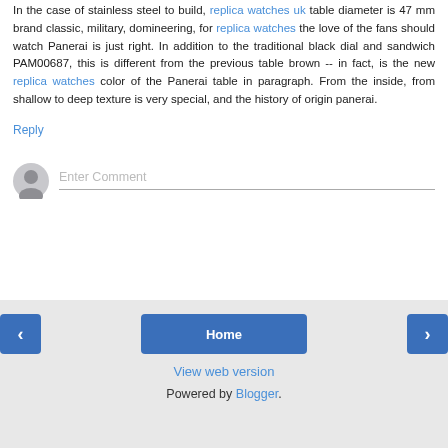In the case of stainless steel to build, replica watches uk table diameter is 47 mm brand classic, military, domineering, for replica watches the love of the fans should watch Panerai is just right. In addition to the traditional black dial and sandwich PAM00687, this is different from the previous table brown -- in fact, is the new replica watches color of the Panerai table in paragraph. From the inside, from shallow to deep texture is very special, and the history of origin panerai.
Reply
[Figure (other): Comment input area with user avatar (grey silhouette circle) and 'Enter Comment' placeholder text field with underline]
< Home > View web version Powered by Blogger.